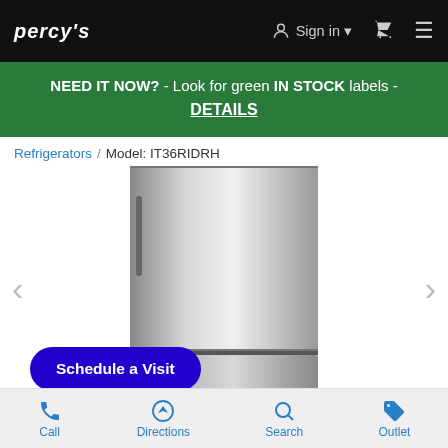PERCYS  Sign in  Cart  Menu
NEED IT NOW? - Look for green IN STOCK labels - DETAILS
Refrigerators / Model: IT36RIDRH
[Figure (photo): Stainless steel French door refrigerator product image, model IT36RIDRH with navigation arrows on left and right]
Schedule a Visit
Call  Directions  Search  Outlet